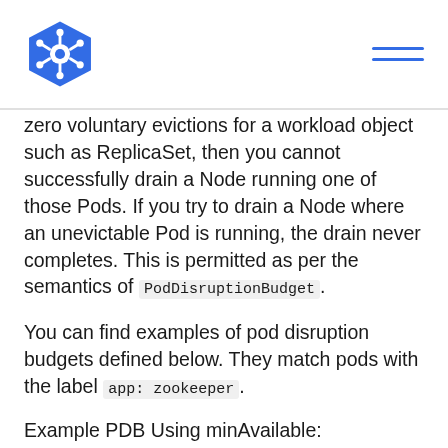Kubernetes logo and navigation menu
zero voluntary evictions for a workload object such as ReplicaSet, then you cannot successfully drain a Node running one of those Pods. If you try to drain a Node where an unevictable Pod is running, the drain never completes. This is permitted as per the semantics of PodDisruptionBudget.
You can find examples of pod disruption budgets defined below. They match pods with the label app: zookeeper.
Example PDB Using minAvailable:
policy/zookeeper-pod-disruption-budget-minavailable.yaml